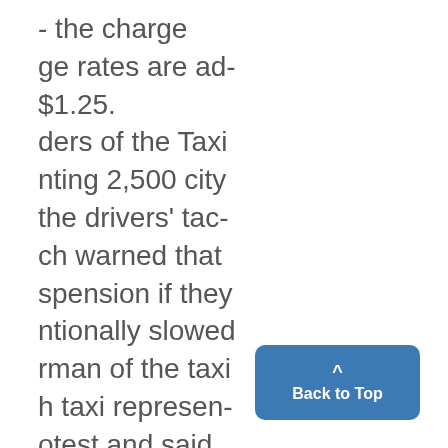- the charge ge rates are ad- $1.25. ders of the Taxi nting 2,500 city the drivers' tac- ch warned that spension if they ntionally slowed rman of the taxi h taxi represen- otest and said idered after they ed to the com-
Back to Top